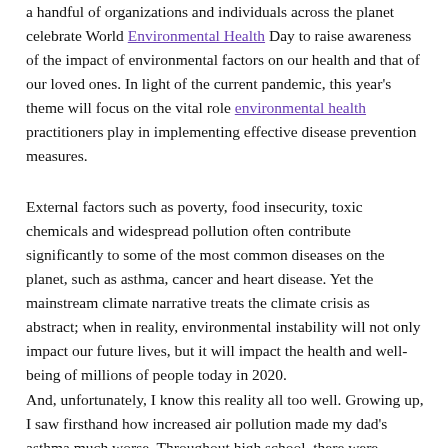a handful of organizations and individuals across the planet celebrate World Environmental Health Day to raise awareness of the impact of environmental factors on our health and that of our loved ones. In light of the current pandemic, this year's theme will focus on the vital role environmental health practitioners play in implementing effective disease prevention measures.
External factors such as poverty, food insecurity, toxic chemicals and widespread pollution often contribute significantly to some of the most common diseases on the planet, such as asthma, cancer and heart disease. Yet the mainstream climate narrative treats the climate crisis as abstract; when in reality, environmental instability will not only impact our future lives, but it will impact the health and well-being of millions of people today in 2020.
And, unfortunately, I know this reality all too well. Growing up, I saw firsthand how increased air pollution made my dad's asthma much worse. Throughout high school, there were several nights